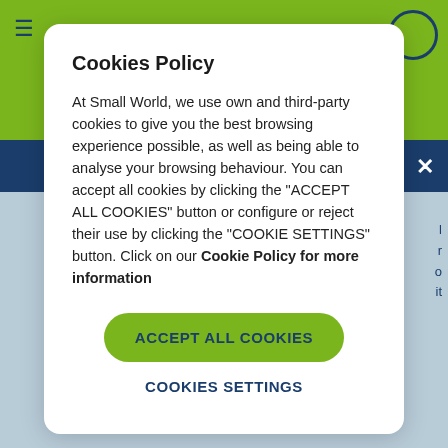Cookies Policy
At Small World, we use own and third-party cookies to give you the best browsing experience possible, as well as being able to analyse your browsing behaviour. You can accept all cookies by clicking the "ACCEPT ALL COOKIES" button or configure or reject their use by clicking the "COOKIE SETTINGS" button. Click on our Cookie Policy for more information
ACCEPT ALL COOKIES
COOKIES SETTINGS